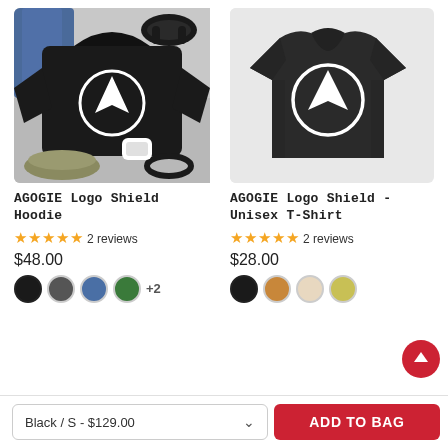[Figure (photo): Black hoodie with AGOGIE logo shield (white arrow/chevron in circle) laid flat with jeans, headphones, sneakers on gray background]
[Figure (photo): Dark charcoal t-shirt with AGOGIE logo shield (white arrow/chevron in circle) on a white background]
AGOGIE Logo Shield Hoodie
AGOGIE Logo Shield - Unisex T-Shirt
★★★★★ 2 reviews
★★★★★ 2 reviews
$48.00
$28.00
Black / S - $129.00
ADD TO BAG